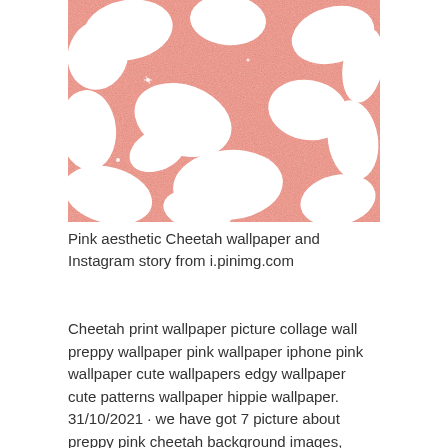[Figure (illustration): Pink glitter cheetah print pattern with white irregular spots on a rose/salmon sparkly background]
Pink aesthetic Cheetah wallpaper and Instagram story from i.pinimg.com
Cheetah print wallpaper picture collage wall preppy wallpaper pink wallpaper iphone pink wallpaper cute wallpapers edgy wallpaper cute patterns wallpaper hippie wallpaper. 31/10/2021 · we have got 7 picture about preppy pink cheetah background images, photos, pictures,